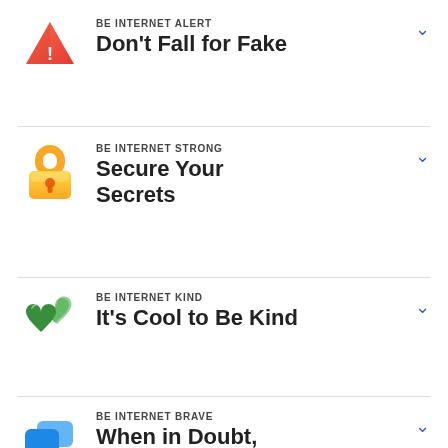BE INTERNET ALERT
Don't Fall for Fake
BE INTERNET STRONG
Secure Your Secrets
BE INTERNET KIND
It's Cool to Be Kind
BE INTERNET BRAVE
When in Doubt,